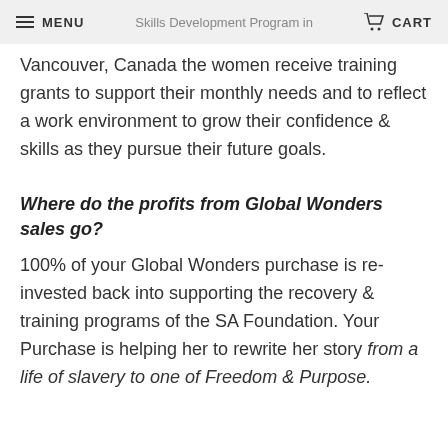MENU | Skills Development Program in | CART
Vancouver, Canada the women receive training grants to support their monthly needs and to reflect a work environment to grow their confidence & skills as they pursue their future goals.
Where do the profits from Global Wonders sales go?
100% of your Global Wonders purchase is re-invested back into supporting the recovery & training programs of the SA Foundation. Your Purchase is helping her to rewrite her story from a life of slavery to one of Freedom & Purpose.